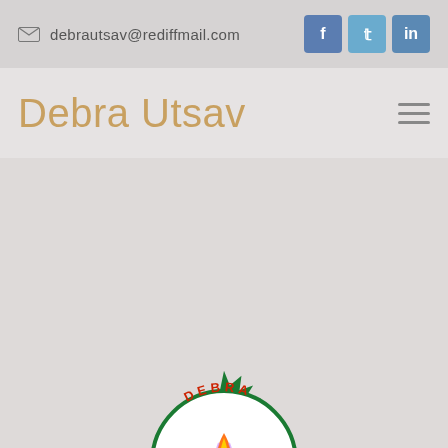debrautsav@rediffmail.com
Debra Utsav
[Figure (logo): Debra Utsav Committee logo: circular green badge with spiky border, central flame/diya image on lotus, text 'DEBRA' at top, 'UTSAV COMMITTEE' along bottom, 'ESTD - 2008' inside]